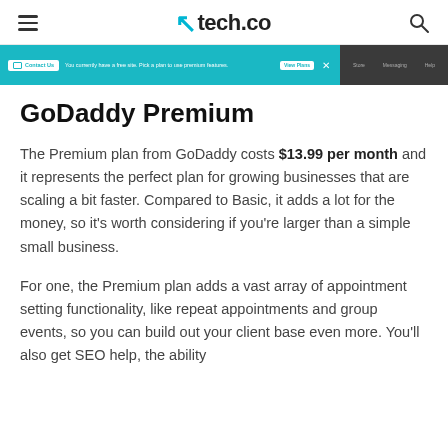tech.co
[Figure (screenshot): Partial screenshot of a GoDaddy website builder interface showing a teal notification bar with 'Contact Us' button and text 'You currently have a free site. Pick a plan to use premium features. View Plans', with an X close button, and a dark navigation bar on the right side.]
GoDaddy Premium
The Premium plan from GoDaddy costs $13.99 per month and it represents the perfect plan for growing businesses that are scaling a bit faster. Compared to Basic, it adds a lot for the money, so it's worth considering if you're larger than a simple small business.
For one, the Premium plan adds a vast array of appointment setting functionality, like repeat appointments and group events, so you can build out your client base even more. You'll also get SEO help, the ability